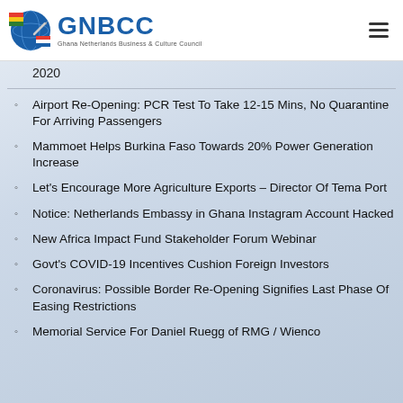GNBCC — Ghana Netherlands Business & Culture Council
2020
Airport Re-Opening: PCR Test To Take 12-15 Mins, No Quarantine For Arriving Passengers
Mammoet Helps Burkina Faso Towards 20% Power Generation Increase
Let's Encourage More Agriculture Exports – Director Of Tema Port
Notice: Netherlands Embassy in Ghana Instagram Account Hacked
New Africa Impact Fund Stakeholder Forum Webinar
Govt's COVID-19 Incentives Cushion Foreign Investors
Coronavirus: Possible Border Re-Opening Signifies Last Phase Of Easing Restrictions
Memorial Service For Daniel Ruegg of RMG / Wienco